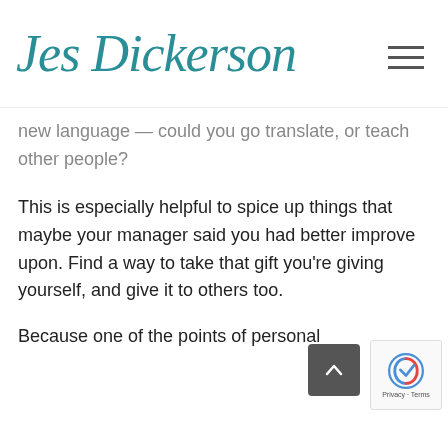Jes Dickerson
new language — could you go translate, or teach other people?
This is especially helpful to spice up things that maybe your manager said you had better improve upon. Find a way to take that gift you're giving yourself, and give it to others too.
Because one of the points of personal